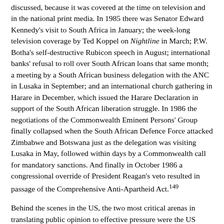discussed, because it was covered at the time on television and in the national print media. In 1985 there was Senator Edward Kennedy's visit to South Africa in January; the week-long television coverage by Ted Koppel on Nightline in March; P.W. Botha's self-destructive Rubicon speech in August; international banks' refusal to roll over South African loans that same month; a meeting by a South African business delegation with the ANC in Lusaka in September; and an international church gathering in Harare in December, which issued the Harare Declaration in support of the South African liberation struggle. In 1986 the negotiations of the Commonwealth Eminent Persons' Group finally collapsed when the South African Defence Force attacked Zimbabwe and Botswana just as the delegation was visiting Lusaka in May, followed within days by a Commonwealth call for mandatory sanctions. And finally in October 1986 a congressional override of President Reagan's veto resulted in passage of the Comprehensive Anti-Apartheid Act.149
Behind the scenes in the US, the two most critical arenas in translating public opinion to effective pressure were the US Congress and the debates among large institutional investors on how to respond to the escalation of conflict in South Africa and the parallel rising demands for divestment.
Notes